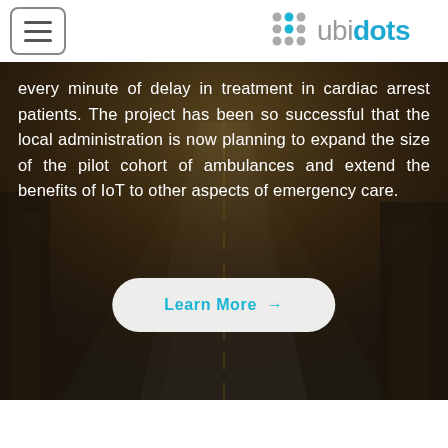ubidots
every minute of delay in treatment in cardiac arrest patients. The project has been so successful that the local administration is now planning to expand the size of the pilot cohort of ambulances and extend the benefits of IoT to other aspects of emergency care.
Learn More →